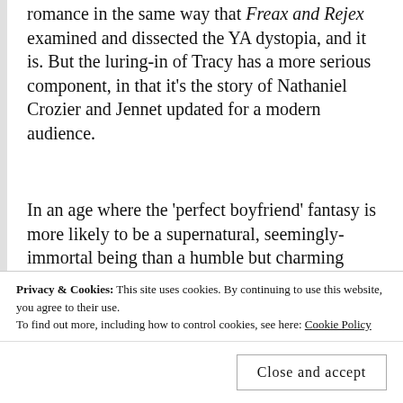romance in the same way that Freax and Rejex examined and dissected the YA dystopia, and it is. But the luring-in of Tracy has a more serious component, in that it's the story of Nathaniel Crozier and Jennet updated for a modern audience.
In an age where the 'perfect boyfriend' fantasy is more likely to be a supernatural, seemingly-immortal being than a humble but charming tweed-jacketed professor, Tracy's story arc conveys the same message as Jennet's. In real life, dashing warlocks are often abusive, twisted individuals who will use others for their own ends, and that cute guy you met on a dating app may in fact turn
Privacy & Cookies: This site uses cookies. By continuing to use this website, you agree to their use.
To find out more, including how to control cookies, see here: Cookie Policy
Close and accept
Matt's Thoughts: The whole flying scene with the